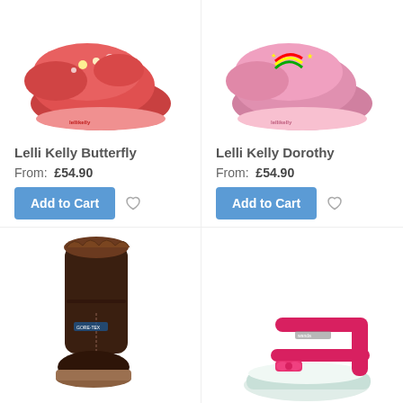[Figure (photo): Red Lelli Kelly Butterfly shoe with floral decoration, top-down view]
Lelli Kelly Butterfly
From: £54.90
[Figure (photo): Pink Lelli Kelly Dorothy shoe with rainbow decoration, top-down view]
Lelli Kelly Dorothy
From: £54.90
[Figure (photo): Dark brown winter boot with fur trim at top, side view]
[Figure (photo): Pink/red sandal with straps and bow, side view]